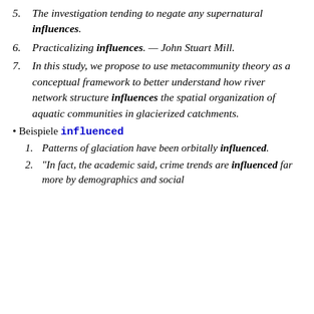5. The investigation tending to negate any supernatural influences.
6. Practicalizing influences. — John Stuart Mill.
7. In this study, we propose to use metacommunity theory as a conceptual framework to better understand how river network structure influences the spatial organization of aquatic communities in glacierized catchments.
Beispiele influenced
1. Patterns of glaciation have been orbitally influenced.
2. "In fact, the academic said, crime trends are influenced far more by demographics and social